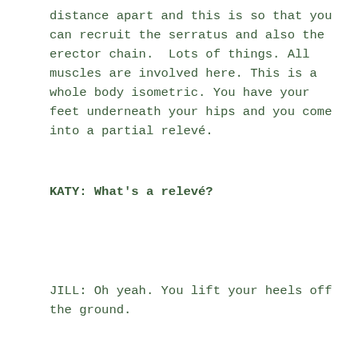distance apart and this is so that you can recruit the serratus and also the erector chain. Lots of things. All muscles are involved here. This is a whole body isometric. You have your feet underneath your hips and you come into a partial relevé.
KATY: What's a relevé?
JILL: Oh yeah. You lift your heels off the ground.